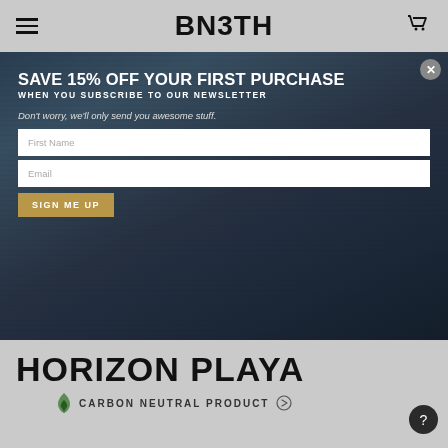BN3TH
[Figure (screenshot): BN3TH e-commerce website screenshot showing a product page for Horizon Playa with a newsletter signup modal overlay. The modal offers 15% off first purchase when subscribing to newsletter, with First Name and Email fields and a Sign Me Up button.]
SAVE 15% OFF YOUR FIRST PURCHASE
WHEN YOU SUBSCRIBE TO OUR NEWSLETTER
Don't worry, we'll only send you awesome stuff.
First Name
Email
SIGN ME UP
HORIZON PLAYA
CARBON NEUTRAL PRODUCT